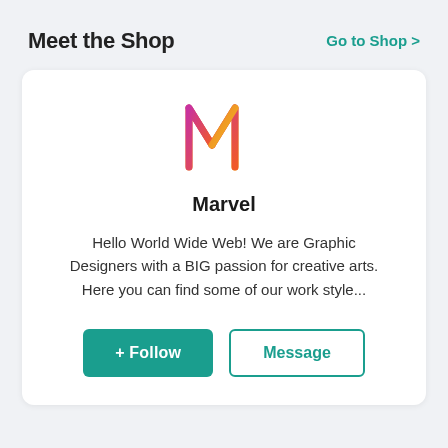Meet the Shop
Go to Shop >
[Figure (logo): Marvel brand logo — stylized letter M in gradient pink-to-orange and orange-to-yellow colors, geometric crown-like shape]
Marvel
Hello World Wide Web! We are Graphic Designers with a BIG passion for creative arts. Here you can find some of our work style...